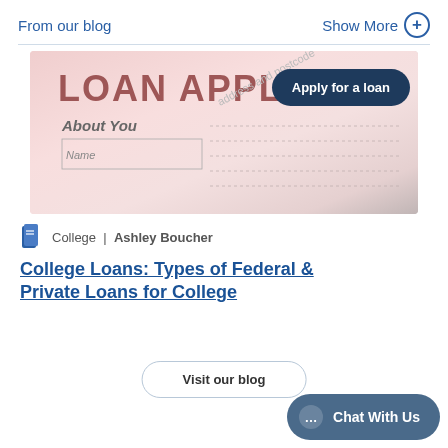From our blog
Show More
[Figure (photo): Loan application form with 'LOAN APPLI...' header, 'About You' section visible with Name and address fields, and an 'Apply for a loan' dark blue button overlaid.]
College | Ashley Boucher
College Loans: Types of Federal & Private Loans for College
Visit our blog
Chat With Us